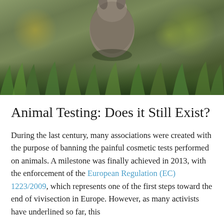[Figure (photo): Close-up photograph of a small animal (likely a rabbit or rodent) in grass, with blurred green and yellow bokeh background]
Animal Testing: Does it Still Exist?
During the last century, many associations were created with the purpose of banning the painful cosmetic tests performed on animals. A milestone was finally achieved in 2013, with the enforcement of the European Regulation (EC) 1223/2009, which represents one of the first steps toward the end of vivisection in Europe. However, as many activists have underlined so far, this